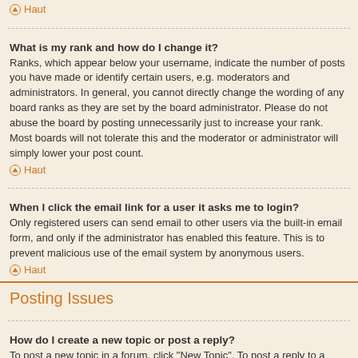Haut
What is my rank and how do I change it?
Ranks, which appear below your username, indicate the number of posts you have made or identify certain users, e.g. moderators and administrators. In general, you cannot directly change the wording of any board ranks as they are set by the board administrator. Please do not abuse the board by posting unnecessarily just to increase your rank. Most boards will not tolerate this and the moderator or administrator will simply lower your post count.
Haut
When I click the email link for a user it asks me to login?
Only registered users can send email to other users via the built-in email form, and only if the administrator has enabled this feature. This is to prevent malicious use of the email system by anonymous users.
Haut
Posting Issues
How do I create a new topic or post a reply?
To post a new topic in a forum, click "New Topic". To post a reply to a topic, click "Post Reply". You may need to register before you can post a message. A list of your permissions in each forum is available at the bottom of the forum and topic screens. Example: You can post new topics, You can post attachments, etc.
Haut